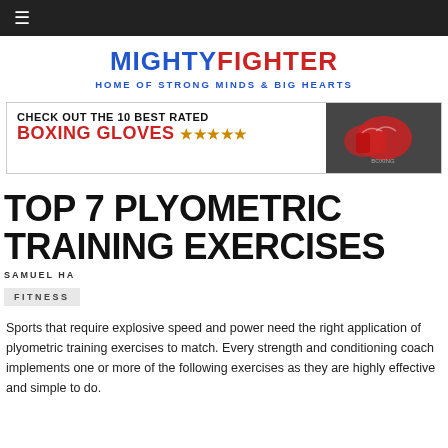≡
[Figure (logo): MIGHTYFIGHTER logo with tagline HOME OF STRONG MINDS & BIG HEARTS]
[Figure (infographic): Advertisement banner: CHECK OUT THE 10 BEST RATED BOXING GLOVES ★★★★★ with image of boxing gloves]
TOP 7 PLYOMETRIC TRAINING EXERCISES
SAMUEL HA
FITNESS
Sports that require explosive speed and power need the right application of plyometric training exercises to match. Every strength and conditioning coach implements one or more of the following exercises as they are highly effective and simple to do.